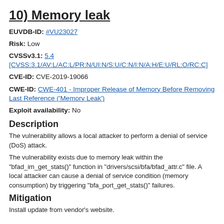10) Memory leak
EUVDB-ID: #VU23027
Risk: Low
CVSSv3.1: 5.4 [CVSS:3.1/AV:L/AC:L/PR:N/UI:N/S:U/C:N/I:N/A:H/E:U/RL:O/RC:C]
CVE-ID: CVE-2019-19066
CWE-ID: CWE-401 - Improper Release of Memory Before Removing Last Reference ('Memory Leak')
Exploit availability: No
Description
The vulnerability allows a local attacker to perform a denial of service (DoS) attack.
The vulnerability exists due to memory leak within the "bfad_im_get_stats()" function in "drivers/scsi/bfa/bfad_attr.c" file. A local attacker can cause a denial of service condition (memory consumption) by triggering "bfa_port_get_stats()" failures.
Mitigation
Install update from vendor's website.